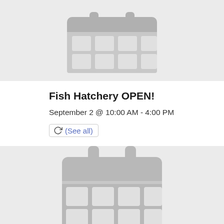[Figure (illustration): Gray calendar icon on light gray background (top, partially cropped)]
Fish Hatchery OPEN!
September 2 @ 10:00 AM - 4:00 PM
(See all)
[Figure (illustration): Gray calendar icon on light gray background (bottom, partially cropped)]